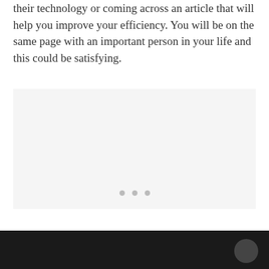their technology or coming across an article that will help you improve your efficiency. You will be on the same page with an important person in your life and this could be satisfying.
[Figure (other): A light gray placeholder image box with three small gray dots centered near the bottom, representing an image carousel or slideshow placeholder.]